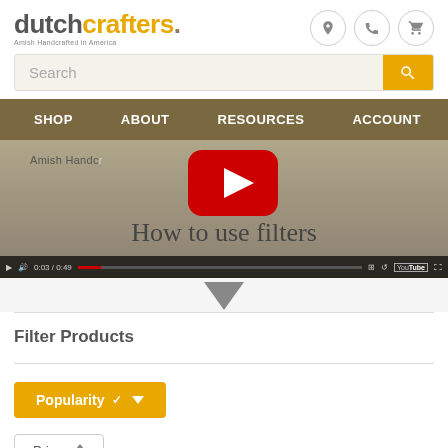[Figure (logo): DutchCrafters logo with tagline 'Amish Handcrafted in America']
Search
SHOP   ABOUT   RESOURCES   ACCOUNT
[Figure (screenshot): YouTube video thumbnail showing 'How to use filters' with YouTube play button and video controls]
Filter Products
Popularity ▾
Price ⇅